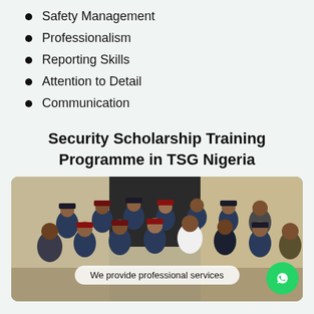Safety Management
Professionalism
Reporting Skills
Attention to Detail
Communication
Security Scholarship Training Programme in TSG Nigeria
[Figure (photo): Group photo of uniformed security personnel and civilians posing in front of a building. An overlay caption reads 'We provide professional services' and a WhatsApp icon button appears in the bottom right corner.]